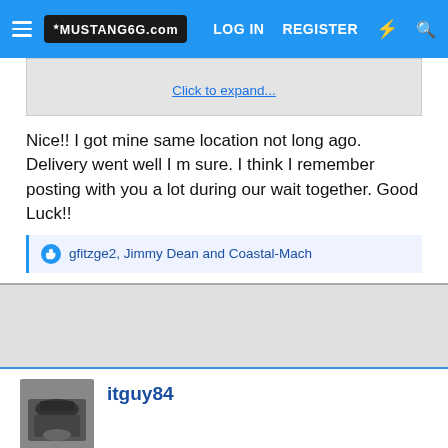MUSTANG6G.com | LOG IN | REGISTER
Click to expand...
Nice!! I got mine same location not long ago. Delivery went well I m sure. I think I remember posting with you a lot during our wait together. Good Luck!!
gfitzge2, Jimmy Dean and Coastal-Mach
itguy84
Jan 14, 2022  #1,781